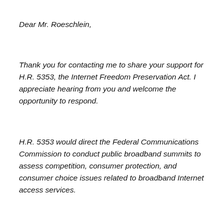Dear Mr. Roeschlein,
Thank you for contacting me to share your support for H.R. 5353, the Internet Freedom Preservation Act.  I appreciate hearing from you and welcome the opportunity to respond.
H.R. 5353 would direct the Federal Communications Commission to conduct public broadband summits to assess competition, consumer protection, and consumer choice issues related to broadband Internet access services.